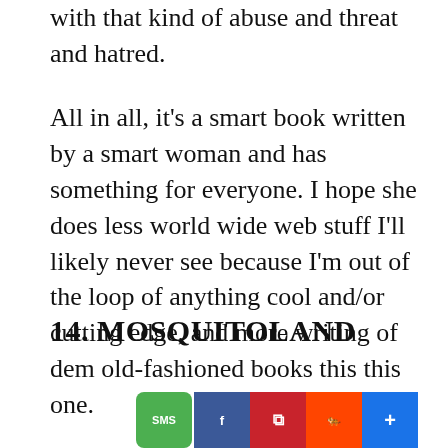with that kind of abuse and threat and hatred.
All in all, it's a smart book written by a smart woman and has something for everyone. I hope she does less world wide web stuff I'll likely never see because I'm out of the loop of anything cool and/or cutting edge, and more writing of dem old-fashioned books this this one.
14. MOSQUITOLAND
[Figure (photo): Book cover of Mosquitoland with teal background, quote 'ONE OF THE MOST TALKED-ABOUT BOOKS OF THE YEAR.' —TEEN VOGUE, and title text MOSQUITOLAND. Social sharing buttons (SMS, Facebook, Pinterest, Reddit, plus) visible at bottom right.]